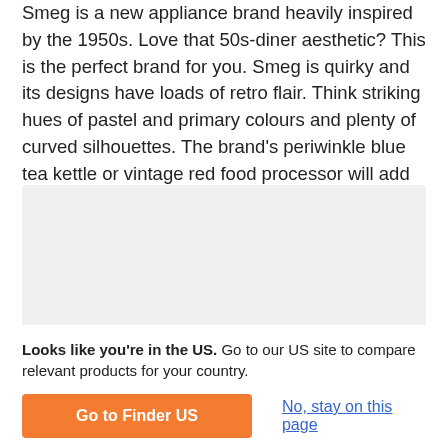Smeg is a new appliance brand heavily inspired by the 1950s. Love that 50s-diner aesthetic? This is the perfect brand for you. Smeg is quirky and its designs have loads of retro flair. Think striking hues of pastel and primary colours and plenty of curved silhouettes. The brand's periwinkle blue tea kettle or vintage red food processor will add fun and flair to any kitchen.
[Figure (other): Light gray placeholder image box]
Looks like you're in the US. Go to our US site to compare relevant products for your country.
Go to Finder US
No, stay on this page